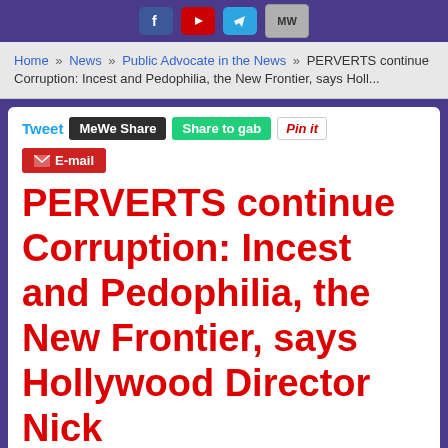Social media icon bar (Facebook, YouTube, Telegram, MeWe)
Home » News » Public Advocate in the News » PERVERTS continue Corruption: Incest and Pedophilia, the New Frontier, says Holl...
[Figure (infographic): Social sharing buttons: Tweet, MeWe Share, Share to gab, Pin it, E-mail]
PERVERTS continue Corruption: Incest and Pedophilia, the New Frontier, says Hollywood Director Nick